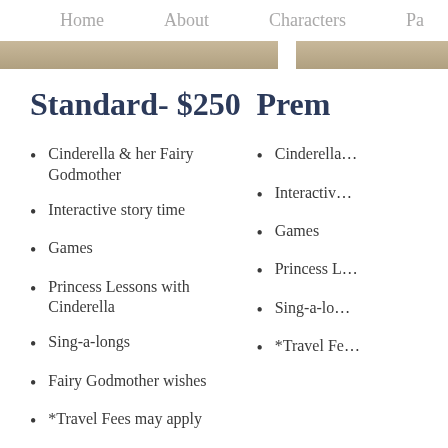Home    About    Characters    Pa…
Standard- $250
Cinderella & her Fairy Godmother
Interactive story time
Games
Princess Lessons with Cinderella
Sing-a-longs
Fairy Godmother wishes
*Travel Fees may apply
Prem…
Cinderella…
Interactiv…
Games
Princess L…
Sing-a-lo…
*Travel Fe…